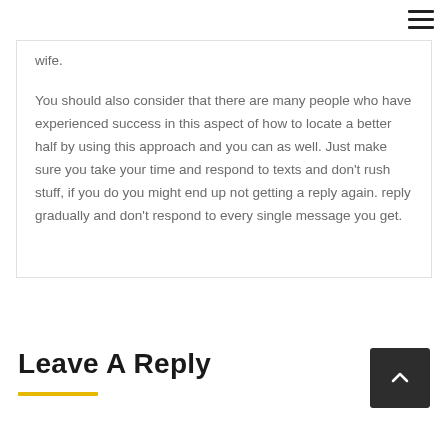wife.
You should also consider that there are many people who have experienced success in this aspect of how to locate a better half by using this approach and you can as well. Just make sure you take your time and respond to texts and don't rush stuff, if you do you might end up not getting a reply again. reply gradually and don't respond to every single message you get.
Leave A Reply